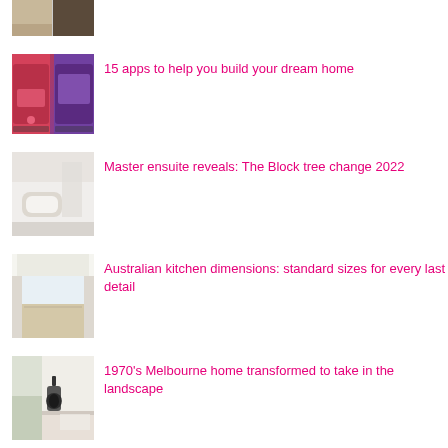[Figure (photo): Two interior home photos side by side (partial, top of page)]
[Figure (photo): Two smartphone app screenshots showing home design apps]
15 apps to help you build your dream home
[Figure (photo): Bathroom interior - master ensuite with white bathtub]
Master ensuite reveals: The Block tree change 2022
[Figure (photo): White kitchen interior with wooden floor]
Australian kitchen dimensions: standard sizes for every last detail
[Figure (photo): Living room with wood burning stove and white interior]
1970's Melbourne home transformed to take in the landscape